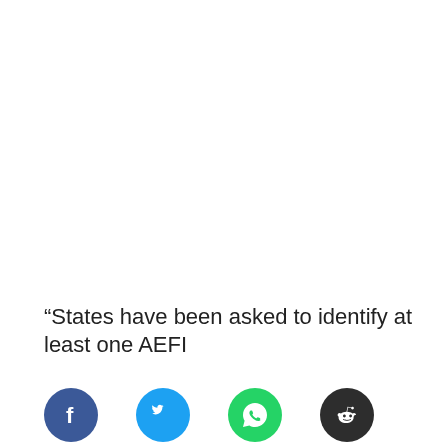“States have been asked to identify at least one AEFI
[Figure (other): Social media sharing icons: Facebook (blue circle), Twitter (light blue circle), WhatsApp (green circle), Reddit (dark circle)]